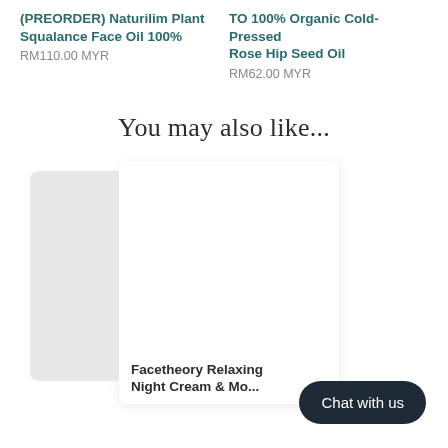(PREORDER) Naturilim Plant Squalane Face Oil 100%
RM110.00 MYR
TO 100% Organic Cold-Pressed Rose Hip Seed Oil
RM62.00 MYR
You may also like...
[Figure (photo): Product card showing a white product image area with shadow background]
Facetheory Relaxing Night Cream & Mo...
Chat with us